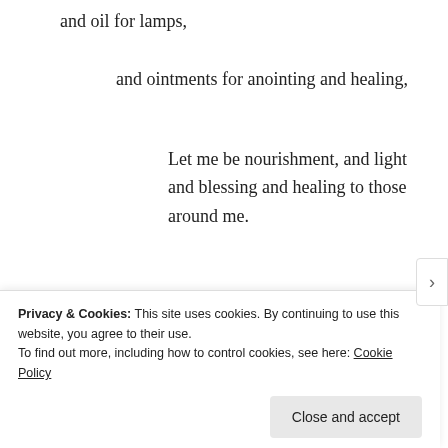and oil for lamps,
and ointments for anointing and healing,
Let me be nourishment, and light and blessing and healing to those around me.
May I draw on the strength of the community of other trees You have placed around me,
[Figure (photo): A group widget showing three circular profile photos of people and a blue plus button, on a light grey background]
Privacy & Cookies: This site uses cookies. By continuing to use this website, you agree to their use.
To find out more, including how to control cookies, see here: Cookie Policy
Close and accept